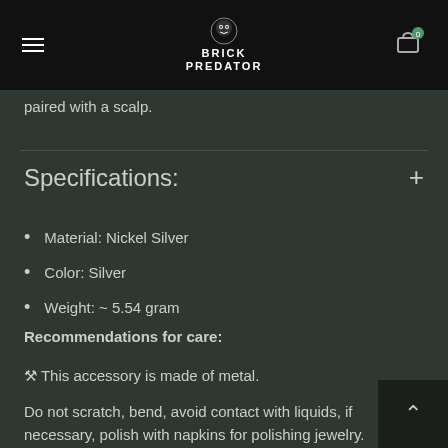Brick Predator
paired with a scalp.
Specifications:
Material: Nickel Silver
Color: Silver
Weight: ~ 5.54 gram
Recommendations for care:
🔧 This accessory is made of metal.
Do not scratch, bend, avoid contact with liquids, if necessary, polish with napkins for polishing jewelry.
for fans of the movie "Predator" and the universe of